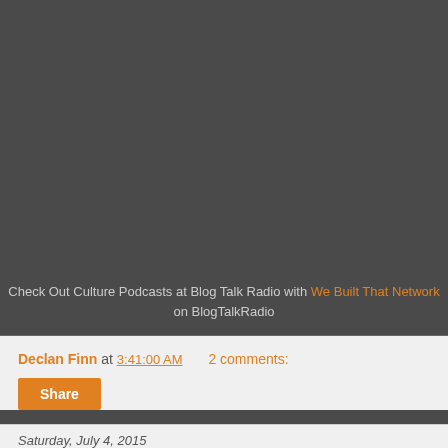[Figure (other): Dark gray area at top, likely a podcast player embed placeholder]
Check Out Culture Podcasts at Blog Talk Radio with We Built That Network on BlogTalkRadio
Declan Finn at 3:41:00 AM    2 comments:
Share
Saturday, July 4, 2015